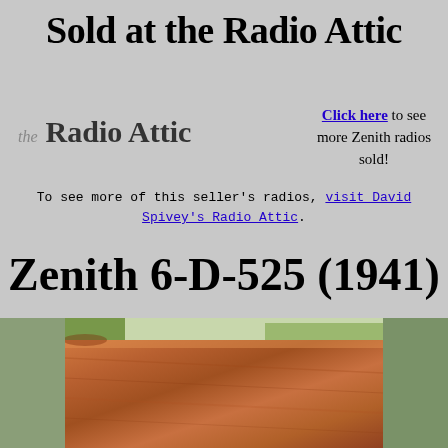Sold at the Radio Attic
[Figure (logo): the Radio Attic logo text]
Click here to see more Zenith radios sold!
To see more of this seller's radios, visit David Spivey's Radio Attic.
Zenith 6-D-525 (1941)
[Figure (photo): Close-up photograph of a wooden Zenith 6-D-525 radio cabinet top, showing warm brown wood grain with outdoor foliage visible in background]